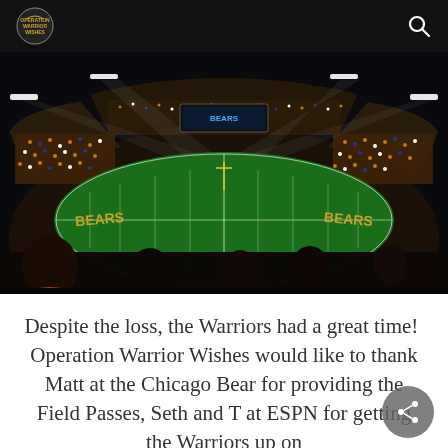[Site logo and search icon on dark header bar]
[Figure (photo): Night aerial view of a packed NFL football stadium (Soldier Field, Chicago Bears) with bright floodlights illuminating the green field. Spectators visible in foreground silhouettes.]
Despite the loss, the Warriors had a great time!  Operation Warrior Wishes would like to thank Matt at the Chicago Bear for providing the Field Passes, Seth and T at ESPN for getting the Warriors up on